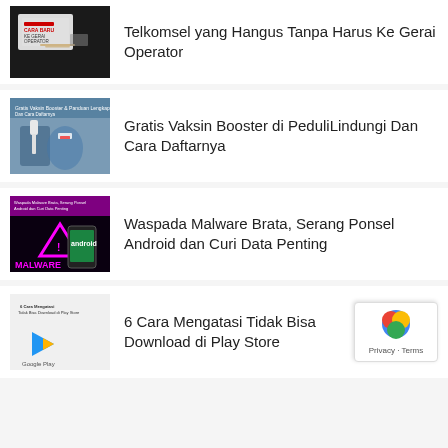Telkomsel yang Hangus Tanpa Harus Ke Gerai Operator
Gratis Vaksin Booster di PeduliLindungi Dan Cara Daftarnya
Waspada Malware Brata, Serang Ponsel Android dan Curi Data Penting
6 Cara Mengatasi Tidak Bisa Download di Play Store